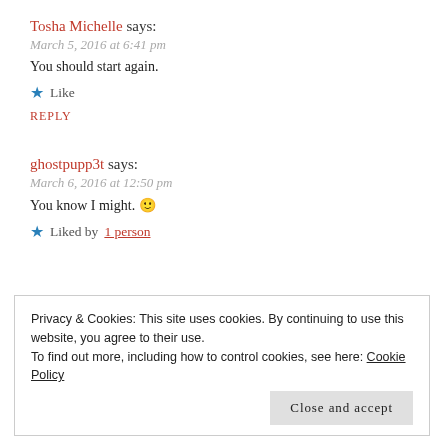Tosha Michelle says:
March 5, 2016 at 6:41 pm
You should start again.
★ Like
REPLY
ghostpupp3t says:
March 6, 2016 at 12:50 pm
You know I might. 🙂
★ Liked by 1 person
Privacy & Cookies: This site uses cookies. By continuing to use this website, you agree to their use. To find out more, including how to control cookies, see here: Cookie Policy
Close and accept